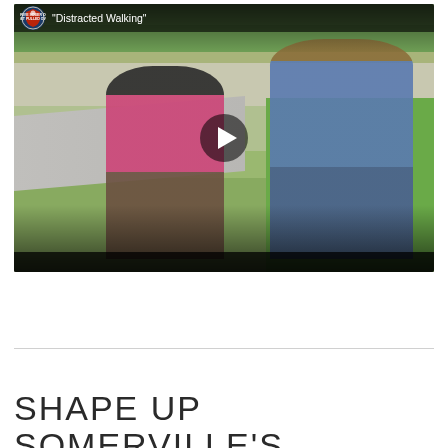[Figure (screenshot): Video thumbnail showing two people walking outdoors on a sidewalk. Title bar at top reads 'Distracted Walking' with a Drive Sober or Get Pulled Over logo. A play button is centered on the video.]
SHAPE UP SOMERVILLE'S